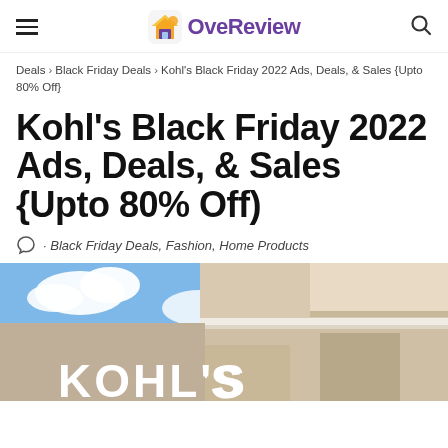OveReview
Deals › Black Friday Deals › Kohl's Black Friday 2022 Ads, Deals, & Sales {Upto 80% Off}
Kohl's Black Friday 2022 Ads, Deals, & Sales {Upto 80% Off)
· Black Friday Deals, Fashion, Home Products
[Figure (photo): Exterior photo of a Kohl's store with blue sky and clouds in the background, showing the Kohl's sign on a beige building.]